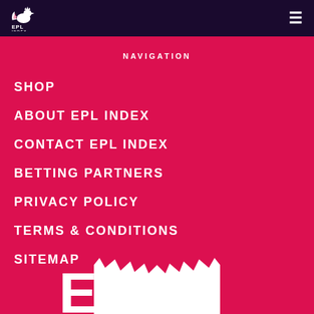EPL Index
NAVIGATION
SHOP
ABOUT EPL INDEX
CONTACT EPL INDEX
BETTING PARTNERS
PRIVACY POLICY
TERMS & CONDITIONS
SITEMAP
[Figure (logo): EPL Index large white logo text at bottom of page, partially visible]